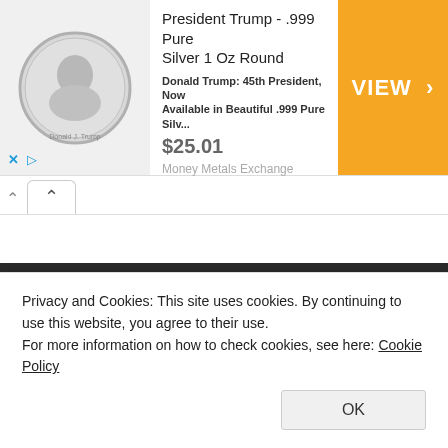[Figure (other): Advertisement banner for President Trump .999 Pure Silver 1 Oz Round coin. Shows silver coin image, product title, description, price $25.01, and orange VIEW button.]
President Trump - .999 Pure Silver 1 Oz Round
Donald Trump: 45th President, Now Available in Beautiful .999 Pure Silv...
$25.01
VIEW >
Money Metals Exchange
NEWS ARCHIVE
DECEMBER 2020
Privacy and Cookies: This site uses cookies. By continuing to use this website, you agree to their use.
For more information on how to check cookies, see here: Cookie Policy